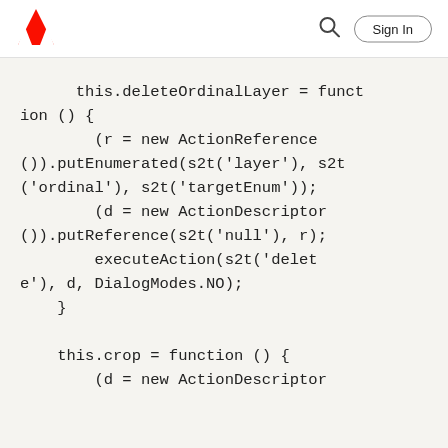Adobe | Sign In
this.deleteOrdinalLayer = function () {
        (r = new ActionReference()).putEnumerated(s2t('layer'), s2t('ordinal'), s2t('targetEnum'));
        (d = new ActionDescriptor()).putReference(s2t('null'), r);
        executeAction(s2t('delete'), d, DialogModes.NO);
    }

    this.crop = function () {
        (d = new ActionDescriptor